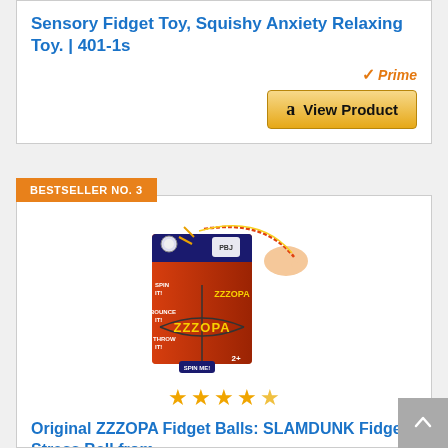Sensory Fidget Toy, Squishy Anxiety Relaxing Toy. | 401-1s
[Figure (screenshot): Amazon Prime badge and View Product button with Amazon logo]
BESTSELLER NO. 3
[Figure (photo): ZZZOPA Fidget Balls product box showing a basketball-style fidget ball with a hand demonstrating spinning. Box reads: SPIN IT!, BOUNCE IT!, THROW IT!, COMBINE & GET CREATIVE, SPIN ME!]
[Figure (other): 4.5 star rating shown with yellow star icons]
Original ZZZOPA Fidget Balls: SLAMDUNK Fidget Stress Ball from